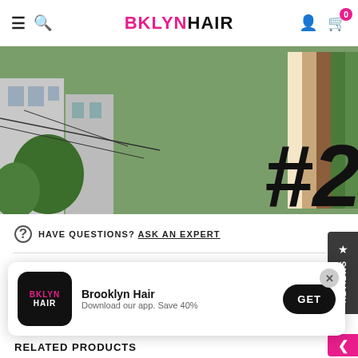BKLYNHAIR
[Figure (photo): Street scene photo with plants and buildings, pink border top and bottom, large bold italic '#2' text overlay on right side]
? HAVE QUESTIONS? ASK AN EXPERT
30 DAY GUARANTEE
SHIPPING INFO & FAQ
[Figure (screenshot): App install banner: BKLYN HAIR logo, 'Brooklyn Hair - Download our app. Save 40%' text, GET button, X close button]
RELATED PRODUCTS